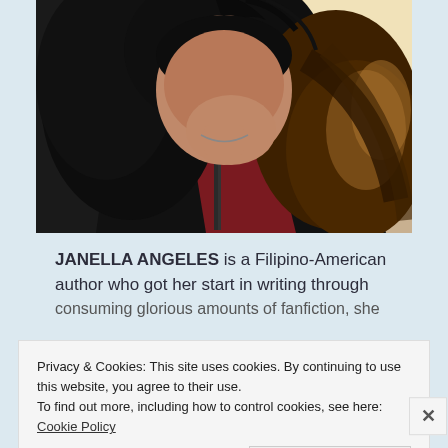[Figure (photo): Close-up photo of a young woman with long dark wavy hair, wearing a black leather jacket over a dark red top, photographed against a bright background.]
JANELLA ANGELES is a Filipino-American author who got her start in writing through consuming glorious amounts of fanfiction, she
Privacy & Cookies: This site uses cookies. By continuing to use this website, you agree to their use.
To find out more, including how to control cookies, see here: Cookie Policy
Close and accept